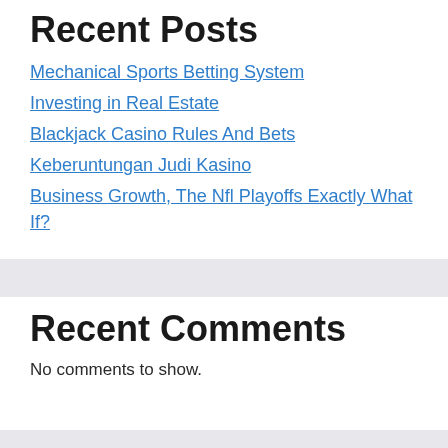Recent Posts
Mechanical Sports Betting System
Investing in Real Estate
Blackjack Casino Rules And Bets
Keberuntungan Judi Kasino
Business Growth, The Nfl Playoffs Exactly What If?
Recent Comments
No comments to show.